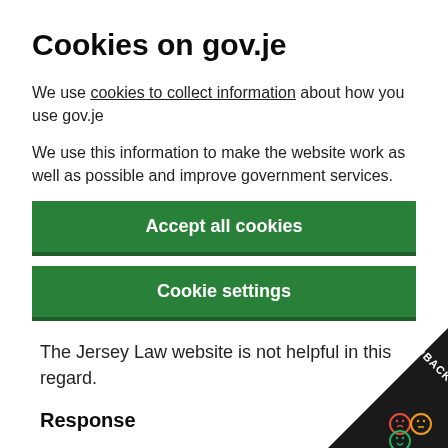Cookies on gov.je
We use cookies to collect information about how you use gov.je
We use this information to make the website work as well as possible and improve government services.
Accept all cookies
Cookie settings
The Jersey Law website is not helpful in this regard.
Response